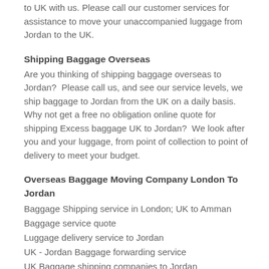to UK with us. Please call our customer services for assistance to move your unaccompanied luggage from Jordan to the UK.
Shipping Baggage Overseas
Are you thinking of shipping baggage overseas to Jordan?  Please call us, and see our service levels, we ship baggage to Jordan from the UK on a daily basis. Why not get a free no obligation online quote for shipping Excess baggage UK to Jordan?  We look after you and your luggage, from point of collection to point of delivery to meet your budget.
Overseas Baggage Moving Company London To Jordan
Baggage Shipping service in London; UK to Amman
Baggage service quote
Luggage delivery service to Jordan
UK - Jordan Baggage forwarding service
UK Baggage shipping companies to Jordan
Excess luggage shipping